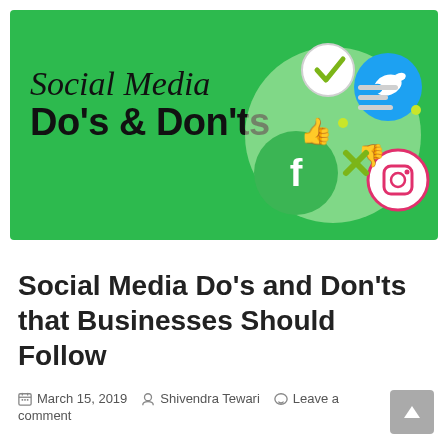[Figure (illustration): Green banner image with 'Social Media Do's & Don'ts' text in script and bold fonts, with social media icons (checkmark, thumbs up, thumbs down, X mark, Facebook, Twitter, Instagram) on the right side against a green background.]
Social Media Do's and Don'ts that Businesses Should Follow
March 15, 2019   Shivendra Tewari   Leave a comment